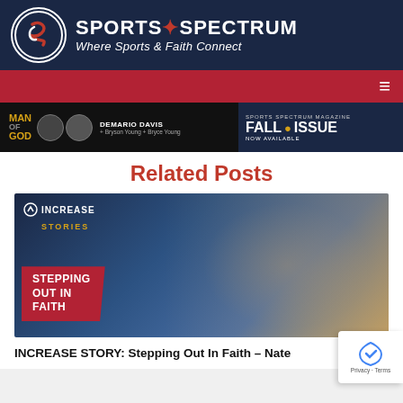[Figure (logo): Sports Spectrum logo with circular icon and text: SPORTS SPECTRUM / Where Sports & Faith Connect]
[Figure (photo): Banner advertisement for Sports Spectrum Magazine Fall Issue featuring Man of God with DeMario Davis]
Related Posts
[Figure (photo): Increase Stories: Stepping Out In Faith - rugby player carrying ball, overlay with Increase Stories logo and red banner]
INCREASE STORY: Stepping Out In Faith – Nate